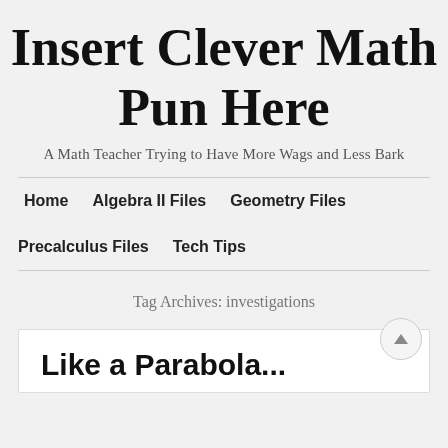Insert Clever Math Pun Here
A Math Teacher Trying to Have More Wags and Less Bark
Home
Algebra II Files
Geometry Files
Precalculus Files
Tech Tips
Tag Archives: investigations
Like a Parabola...